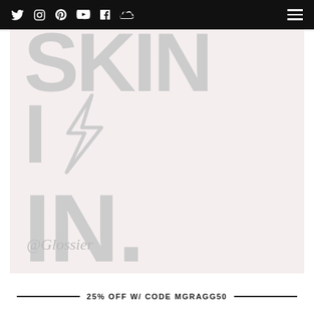Navigation bar with social icons (Twitter, Instagram, Pinterest, YouTube, Facebook, SoundCloud) and hamburger menu
[Figure (illustration): Light pink background with large decorative light-gray uppercase text reading 'SKIN I⚡IN.' with a lightning bolt symbol between 'I' and 'IN.', and '@Glossier' in italic script at the bottom left]
25% OFF W/ CODE MGRAGG50